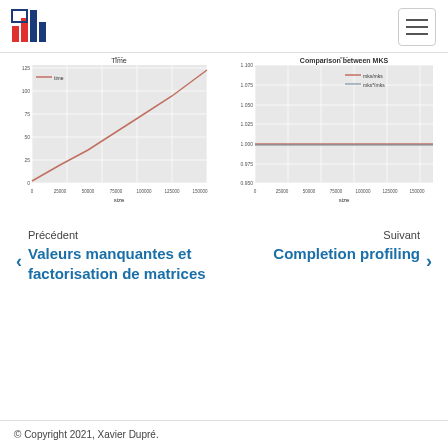Logo and navigation header
[Figure (line-chart): Line chart titled 'Time' showing time (ms) vs size (0 to 200000). Single red line 'time' increasing roughly linearly from ~0 to ~175.]
[Figure (line-chart): Line chart titled 'Comparison between MKS' showing ratio vs size. Two lines: 'mks/mks' (red) flat near 1.000 and 'mks*/mks' (blue) flat near 1.000. Y-axis from 0.900 to 1.100.]
Précédent
Valeurs manquantes et factorisation de matrices
Suivant
Completion profiling
© Copyright 2021, Xavier Dupré.